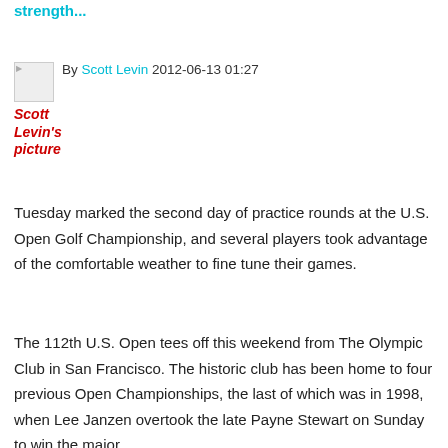strength...
By Scott Levin 2012-06-13 01:27
Scott Levin's picture
Tuesday marked the second day of practice rounds at the U.S. Open Golf Championship, and several players took advantage of the comfortable weather to fine tune their games.
The 112th U.S. Open tees off this weekend from The Olympic Club in San Francisco. The historic club has been home to four previous Open Championships, the last of which was in 1998, when Lee Janzen overtook the late Payne Stewart on Sunday to win the major.
With most golfers hitting the course Tuesday for their second practice round, there was plenty to take in for the thousands of spectators who showed up to catch a glimpse. Here are some of the story lines from practice day No. 2.
Bubba Watson takes on No. 16